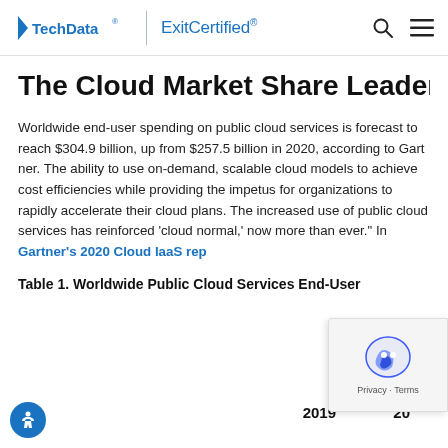TechData | ExitCertified®
The Cloud Market Share Leader
Worldwide end-user spending on public cloud services is forecast to reach $304.9 billion, up from $257.5 billion in 2020, according to Gartner. The ability to use on-demand, scalable cloud models to achieve cost efficiencies while providing the impetus for organizations to rapidly accelerate their cloud plans. The increased use of public cloud services has reinforced 'cloud normal,' now more than ever." In Gartner's 2020 Cloud IaaS rep
Table 1. Worldwide Public Cloud Services End-User
|  | 2019 | 20 |
| --- | --- | --- |